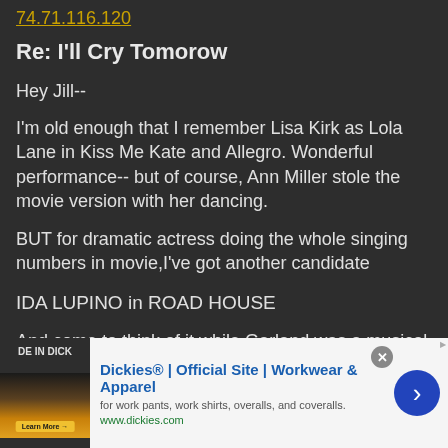74.71.116.120
Re: I'll Cry Tomorow
Hey Jill--
I'm old enough that I remember Lisa Kirk as Lola Lane in Kiss Me Kate and Allegro. Wonderful performance-- but of course, Ann Miller stole the movie version with her dancing.
BUT for dramatic actress doing the whole singing numbers in movie,I've got another candidate
IDA LUPINO in ROAD HOUSE
And come to think of it while Garland was a musical star, her performance in A STAR IS BORN was not a musical performance per say but a dramatic feature--
[Figure (screenshot): Advertisement banner for Dickies workwear. Shows 'DE IN DICK' image on left with dark background and landscape photo, then Dickies official site ad text reading 'Dickies® | Official Site | Workwear & Apparel', description 'for work pants, work shirts, overalls, and coveralls.', URL 'www.dickies.com', a close button (x), and a blue arrow button on the right.]